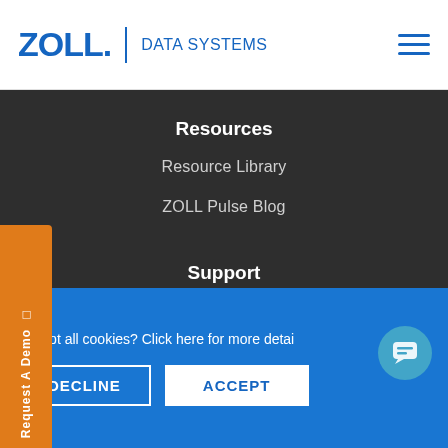ZOLL. | DATA SYSTEMS
Resources
Resource Library
ZOLL Pulse Blog
Support
Contact
Customer Community
Request A Demo
Accept all cookies? Click here for more detai
DECLINE
ACCEPT